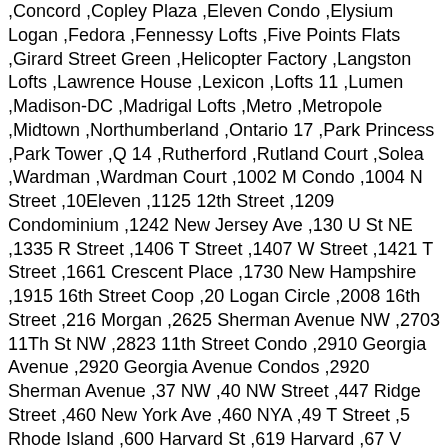,Concord ,Copley Plaza ,Eleven Condo ,Elysium Logan ,Fedora ,Fennessy Lofts ,Five Points Flats ,Girard Street Green ,Helicopter Factory ,Langston Lofts ,Lawrence House ,Lexicon ,Lofts 11 ,Lumen ,Madison-DC ,Madrigal Lofts ,Metro ,Metropole ,Midtown ,Northumberland ,Ontario 17 ,Park Princess ,Park Tower ,Q 14 ,Rutherford ,Rutland Court ,Solea ,Wardman ,Wardman Court ,1002 M Condo ,1004 N Street ,10Eleven ,1125 12th Street ,1209 Condominium ,1242 New Jersey Ave ,130 U St NE ,1335 R Street ,1406 T Street ,1407 W Street ,1421 T Street ,1661 Crescent Place ,1730 New Hampshire ,1915 16th Street Coop ,20 Logan Circle ,2008 16th Street ,216 Morgan ,2625 Sherman Avenue NW ,2703 11Th St NW ,2823 11th Street Condo ,2910 Georgia Avenue ,2920 Georgia Avenue Condos ,2920 Sherman Avenue ,37 NW ,40 NW Street ,447 Ridge Street ,460 New York Ave ,460 NYA ,49 T Street ,5 Rhode Island ,600 Harvard St ,619 Harvard ,67 V Street NW ,6th Street Flats ,7 Logan Circle ,74 R St ,907 N Street ,925 M Street ,939 – 941 M Street Condos ,Abbey ,Admiral Dupont ,Albemarle ,Ambassador ,Analoston ,Aston ,Balfour ,Banneker Hill ,Barcelona